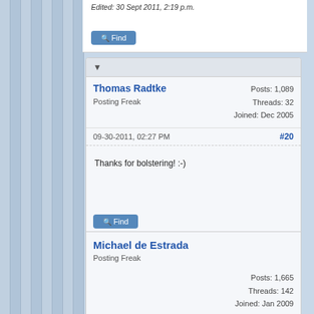Edited: 30 Sept 2011, 2:19 p.m.
Find
Thomas Radtke
Posting Freak
Posts: 1,089
Threads: 32
Joined: Dec 2005
09-30-2011, 02:27 PM
#20
Thanks for bolstering! :-)
Find
Michael de Estrada
Posting Freak
Posts: 1,665
Threads: 142
Joined: Jan 2009